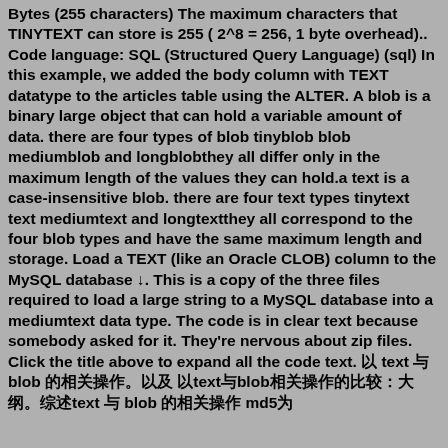Bytes (255 characters) The maximum characters that TINYTEXT can store is 255 ( 2^8 = 256, 1 byte overhead).. Code language: SQL (Structured Query Language) (sql) In this example, we added the body column with TEXT datatype to the articles table using the ALTER. A blob is a binary large object that can hold a variable amount of data. there are four types of blob tinyblob blob mediumblob and longblobthey all differ only in the maximum length of the values they can hold.a text is a case-insensitive blob. there are four text types tinytext text mediumtext and longtextthey all correspond to the four blob types and have the same maximum length and storage. Load a TEXT (like an Oracle CLOB) column to the MySQL database ↓. This is a copy of the three files required to load a large string to a MySQL database into a mediumtext data type. The code is in clear text because somebody asked for it. They're nervous about zip files. Click the title above to expand all the code text. 以 text 与 blob 的相关操作。以及 以text与blob相关操作的比较：大纲。综述text 与 blob 的相关操作 md5为